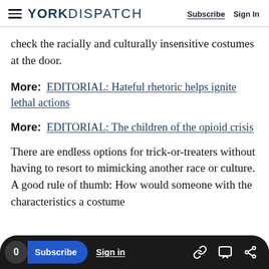YORK DISPATCH — Subscribe  Sign In
check the racially and culturally insensitive costumes at the door.
More:  EDITORIAL: Hateful rhetoric helps ignite lethal actions
More:  EDITORIAL: The children of the opioid crisis
There are endless options for trick-or-treaters without having to resort to mimicking another race or culture. A good rule of thumb: How would someone with the characteristics a costume
in that costume?